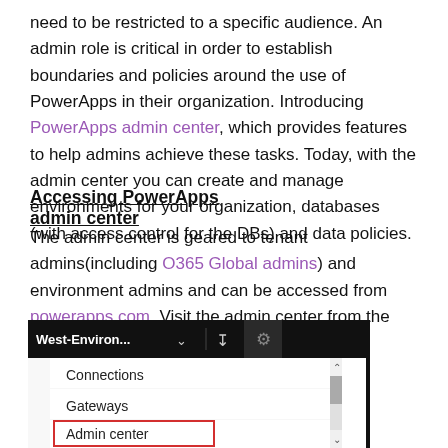need to be restricted to a specific audience. An admin role is critical in order to establish boundaries and policies around the use of PowerApps in their organization. Introducing PowerApps admin center, which provides features to help admins achieve these tasks. Today, with the admin center you can create and manage environments for your organization, databases (with access control for the DBs) and data policies.
Accessing PowerApps admin center
The admin center is geared to tenant admins(including O365 Global admins) and environment admins and can be accessed from powerapps.com. Visit the admin center from the gear in the navigation header.
[Figure (screenshot): Screenshot of PowerApps navigation header dropdown menu showing West-Environ... environment name in black bar, with a dropdown menu listing Connections, Gateways, and Admin center (highlighted with red border). A scrollbar is visible on the right side of the menu.]